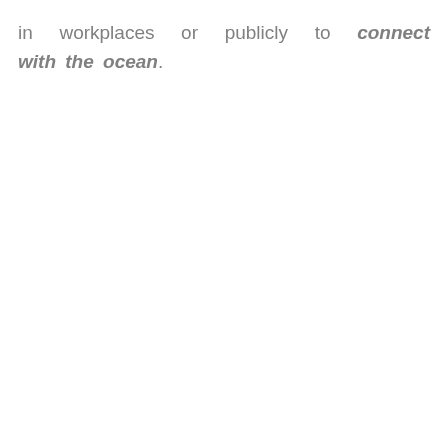in workplaces or publicly to connect with the ocean.